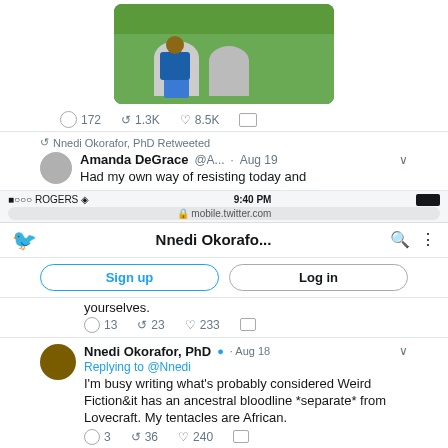[Figure (photo): Photo of a person kneeling at gravestones on green grass]
172  1.3K  8.5K
Nnedi Okorafor, PhD Retweeted
Amanda DeGrace @A... · Aug 19
Had my own way of resisting today and...
[Figure (screenshot): Mobile Twitter screenshot showing Nnedi Okorafor profile page with Sign up and Log in buttons]
yourselves.
13  23  233
Nnedi Okorafor, PhD ✓ · Aug 18
Replying to @Nnedi
I'm busy writing what's probably considered Weird Fiction&it has an ancestral bloodline *separate* from Lovecraft. My tentacles are African.
3  36  240
Nnedi Okorafor, PhD ✓ · Aug 18
Replying to @Nnedi
I write about a great spider artist (NOT Anansi) who dwells beneath the city of Lagos, weaving our lives...
4  10  149